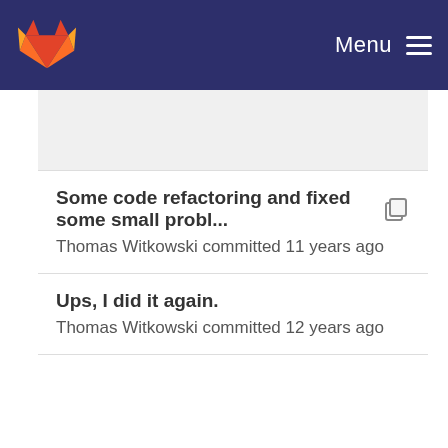Menu
Some code refactoring and fixed some small probl...
Thomas Witkowski committed 11 years ago
Ups, I did it again.
Thomas Witkowski committed 12 years ago